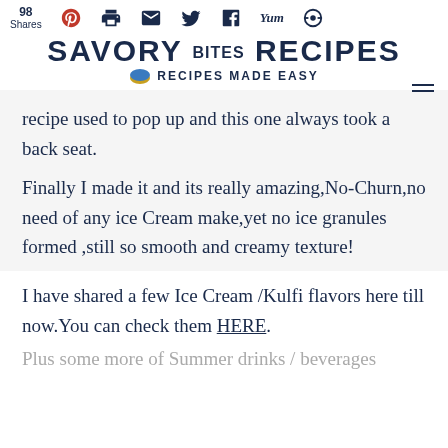98 Shares | SAVORY bites RECIPES | RECIPES MADE EASY
recipe used to pop up and this one always took a back seat.
Finally I made it and its really amazing,No-Churn,no need of any ice Cream make,yet no ice granules formed ,still so smooth and creamy texture!
I have shared a few Ice Cream /Kulfi flavors here till now.You can check them HERE.
Plus some more of Summer drinks / beverages